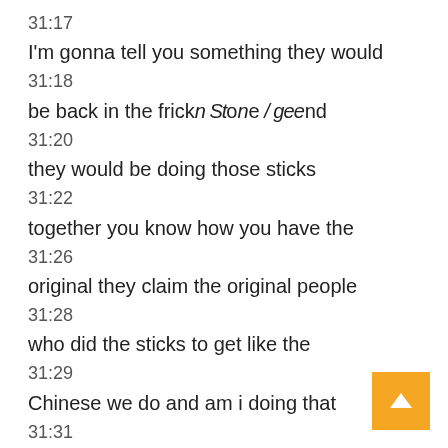31:17
I'm gonna tell you something they would
31:18
be back in the frick n Stone Age and
31:20
they would be doing those sticks
31:22
together you know how you have the
31:26
original they claim the original people
31:28
who did the sticks to get like the
31:29
Chinese we do and am i doing that
31:31
against Chinese people but I would
31:33